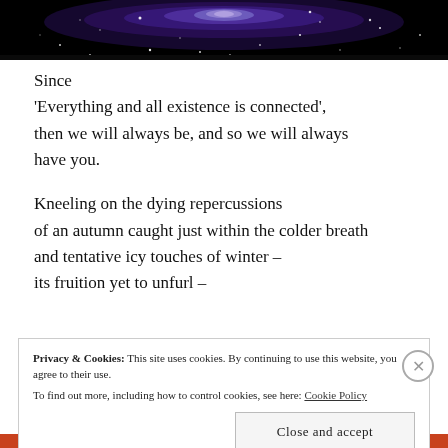[Figure (photo): Photograph of a galaxy with stars on a black background, partially visible at the top of the page.]
Since
'Everything and all existence is connected',
then we will always be, and so we will always
have you.

Kneeling on the dying repercussions
of an autumn caught just within the colder breath
and tentative icy touches of winter –
its fruition yet to unfurl –
Privacy & Cookies: This site uses cookies. By continuing to use this website, you agree to their use.
To find out more, including how to control cookies, see here: Cookie Policy
Close and accept